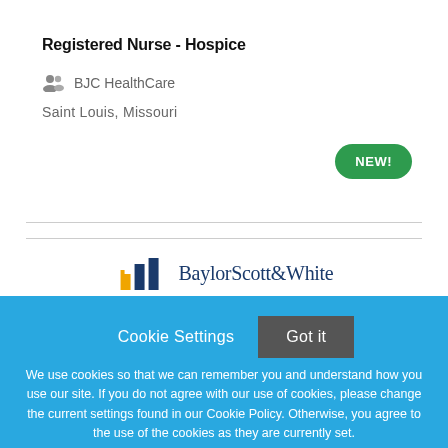Registered Nurse - Hospice
BJC HealthCare
Saint Louis, Missouri
NEW!
[Figure (logo): Baylor Scott & White Health logo with blue and gold building icon]
Cookie Settings   Got it
We use cookies so that we can remember you and understand how you use our site. If you do not agree with our use of cookies, please change the current settings found in our Cookie Policy. Otherwise, you agree to the use of the cookies as they are currently set.